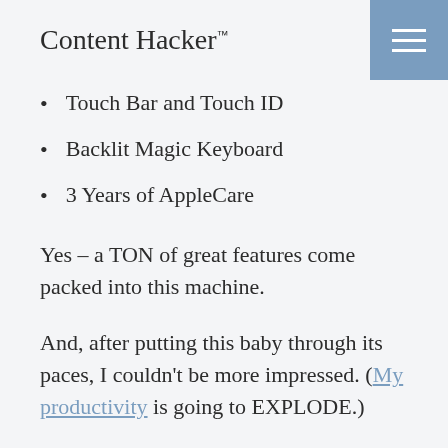Content Hacker™
Touch Bar and Touch ID
Backlit Magic Keyboard
3 Years of AppleCare
Yes – a TON of great features come packed into this machine.
And, after putting this baby through its paces, I couldn't be more impressed. (My productivity is going to EXPLODE.)
After unboxing the MacBook Pro 16-inch